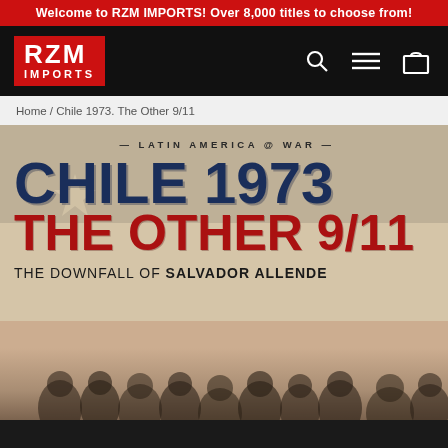Welcome to RZM IMPORTS! Over 8,000 titles to choose from!
[Figure (logo): RZM IMPORTS logo — white text on red background]
Home / Chile 1973. The Other 9/11
[Figure (illustration): Book cover for 'Chile 1973 The Other 9/11 — The Downfall of Salvador Allende' from the Latin America @ War series. Large dark blue distressed text reads CHILE 1973, red distressed text reads THE OTHER 9/11, black text reads THE DOWNFALL OF SALVADOR ALLENDE. Background shows a Chilean flag and crowd of people.]